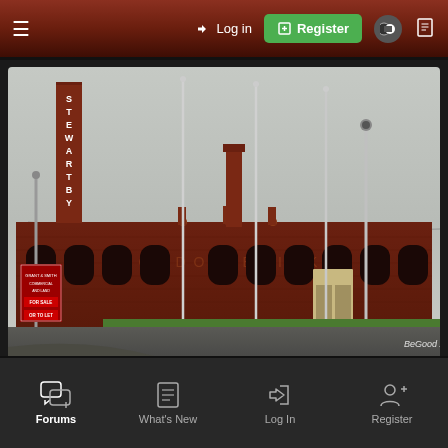≡  → Log in  ⊞ Register  ◑  📄
[Figure (photo): Photograph of the Stewartby London Brick Company building — a large red-brick industrial facility with a tall chimney bearing the word STEWARTBY, multiple flag poles, and a smaller central chimney. A red for-sale/let sign is visible on the left. Watermark reads BeGood 2010.]
Forums  What's New  Log In  Register